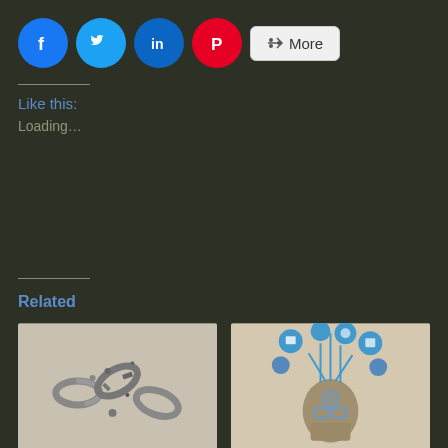[Figure (other): Social share buttons: Facebook (blue circle), Twitter (light blue circle), LinkedIn (dark blue circle), Pinterest (red circle), and a More button with share icon]
Like this:
Loading...
Related
[Figure (photo): Black and white photo of a broken chain]
My Story: Breaking The Cycle
[Figure (illustration): Colorful illustration of a human head with technology/social media icons flowing out]
5 Things I've Learned About Blogging